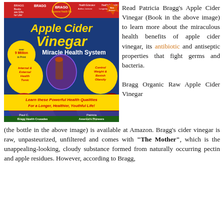[Figure (photo): Book cover of Bragg Apple Cider Vinegar Miracle Health System by Paul C. Bragg and Patricia Bragg. Blue background with yellow and white text, apple cider vinegar glass, apples, featuring text about internal/external health tonic, control weight and banish obesity, and learn these powerful health qualities for a longer, healthier, youthful life.]
Read Patricia Bragg's Apple Cider Vinegar (Book in the above image) to learn more about the miraculous health benefits of apple cider vinegar, its antibiotic and antiseptic properties that fight germs and bacteria.
Bragg Organic Raw Apple Cider Vinegar (the bottle in the above image) is available at Amazon. Bragg's cider vinegar is raw, unpasteurized, unfiltered and comes with "The Mother", which is the unappealing-looking, cloudy substance formed from naturally occurring pectin and apple residues. However, according to Bragg,